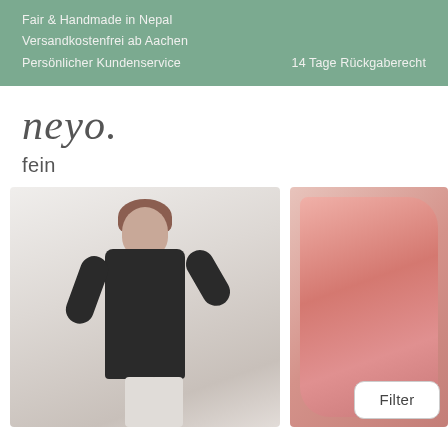Fair & Handmade in Nepal
Versandkostenfrei ab Aachen
Persönlicher Kundenservice    14 Tage Rückgaberecht
neyo.
fein
[Figure (photo): Woman wearing black top posing, and a pink/red folded scarf/fabric on the right]
Filter